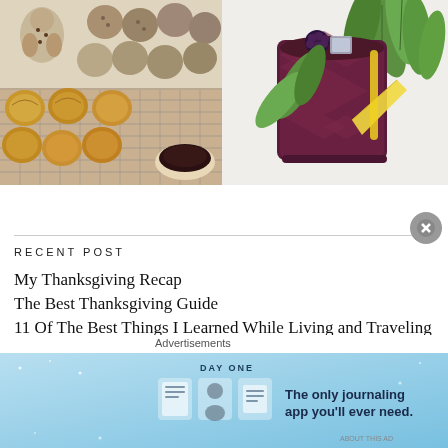[Figure (photo): Overhead view of baked goods on trays and cooling racks — cookies on parchment paper on top, savory biscuits/scones on a wire rack below, with a small bowl of dark sauce]
[Figure (photo): Close-up of a dark purple/maroon drink in a textured cup garnished with blackberries, mint sprigs, and a lemon wedge on a white surface]
RECENT POST
My Thanksgiving Recap
The Best Thanksgiving Guide
11 Of The Best Things I Learned While Living and Traveling in
Advertisements
[Figure (screenshot): DAY ONE journaling app advertisement banner — light blue background with app icons and text 'The only journaling app you'll ever need.']